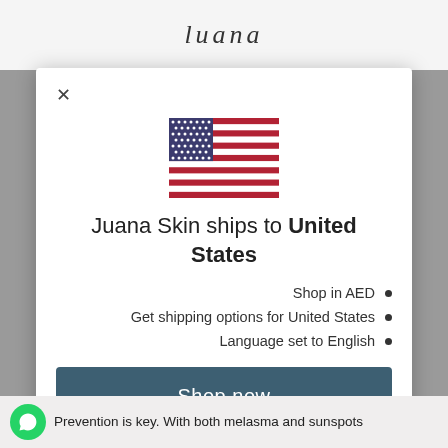luana
[Figure (illustration): US flag SVG illustration]
Juana Skin ships to United States
Shop in AED •
Get shipping options for United States •
Language set to English •
Shop now
Change shipping country and language
Prevention is key. With both melasma and sunspots